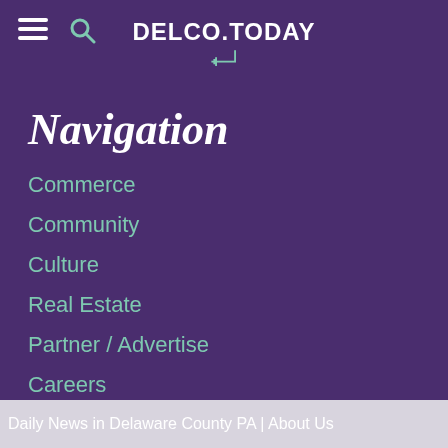DELCO.TODAY
Navigation
Commerce
Community
Culture
Real Estate
Partner / Advertise
Careers
Daily News in Delaware County PA | About Us